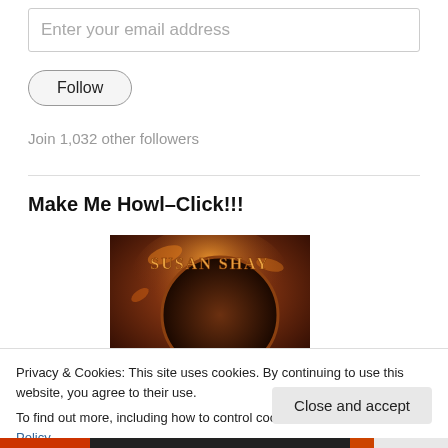Enter your email address
Follow
Join 1,032 other followers
Make Me Howl–Click!!!
[Figure (illustration): Book cover for Susan Shay, dark fantasy/paranormal romance cover with fiery background and dark circular element]
Privacy & Cookies: This site uses cookies. By continuing to use this website, you agree to their use.
To find out more, including how to control cookies, see here: Cookie Policy
Close and accept